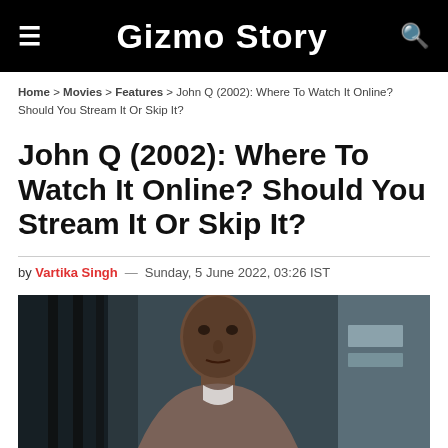Gizmo Story
Home > Movies > Features > John Q (2002): Where To Watch It Online? Should You Stream It Or Skip It?
John Q (2002): Where To Watch It Online? Should You Stream It Or Skip It?
by Vartika Singh — Sunday, 5 June 2022, 03:26 IST
[Figure (photo): A man (Denzel Washington) standing in a dimly lit interior space, looking serious, in a still from the movie John Q (2002).]